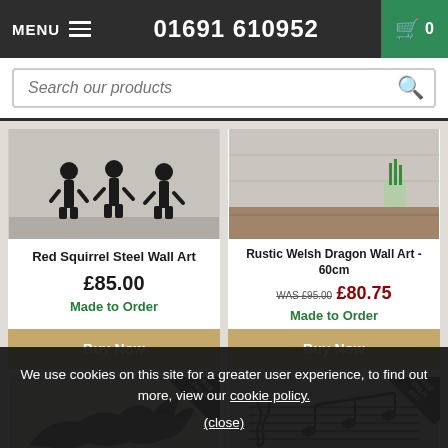MENU  01691 610952  0
Search our products
[Figure (photo): Product image of Red Squirrel Steel Wall Art - dark silhouette figures walking]
Red Squirrel Steel Wall Art
£85.00
Made to Order
Buy Now
[Figure (photo): Product image of Rustic Welsh Dragon Wall Art - concrete wall with plant in glass vase]
Rustic Welsh Dragon Wall Art - 60cm
WAS £95.00  £80.75
Made to Order
Buy Now
[Figure (photo): Bottom left product thumbnail - dragon silhouette on beige background with FREE DELIVERY badge]
[Figure (photo): Bottom right product thumbnail - music notes on grey background with FREE DELIVERY badge]
We use cookies on this site for a greater user experience, to find out more, view our cookie policy.
(close)